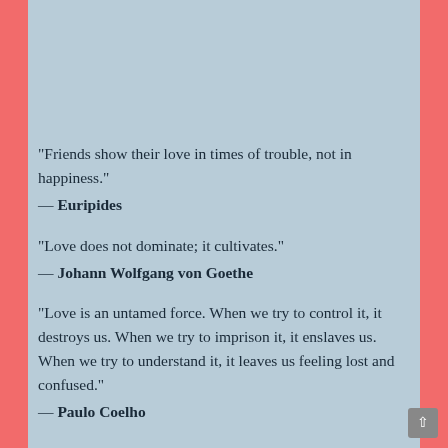[Figure (photo): Black rectangle image area with positivityblog.com watermark in bottom right]
“Friends show their love in times of trouble, not in happiness.”
— Euripides
“Love does not dominate; it cultivates.”
— Johann Wolfgang von Goethe
“Love is an untamed force. When we try to control it, it destroys us. When we try to imprison it, it enslaves us. When we try to understand it, it leaves us feeling lost and confused.”
— Paulo Coelho
“I have decided to stick with love. Hate is too great a...